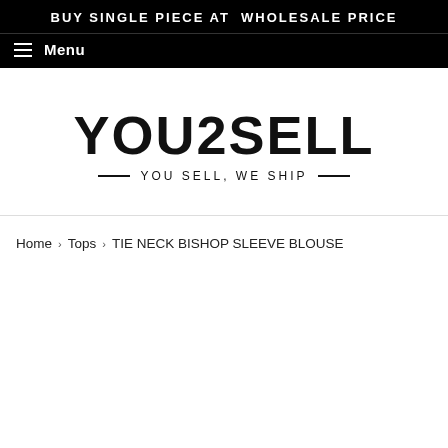BUY SINGLE PIECE AT WHOLESALE PRICE
Menu
[Figure (logo): YOU2SELL logo with tagline 'YOU SELL, WE SHIP']
Home › Tops › TIE NECK BISHOP SLEEVE BLOUSE